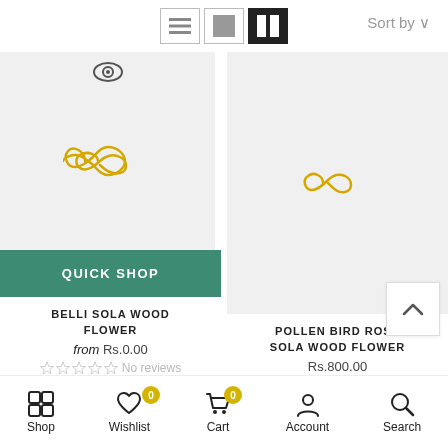[Figure (screenshot): Top toolbar with list view, grid view, and two-column view icons, and Sort by dropdown]
[Figure (screenshot): Product card left: Belli Sola Wood Flower with gold infinity logo on gray background, Quick Shop button, product title, price from Rs.0.00, no reviews rating]
[Figure (screenshot): Product card right: Pollen Bird Rose Sola Wood Flower with gold infinity logo on gray background, product title, price Rs.800.00, no reviews rating]
[Figure (screenshot): Bottom navigation bar with Shop, Wishlist (badge 0), Cart (badge 0), Account, Search icons]